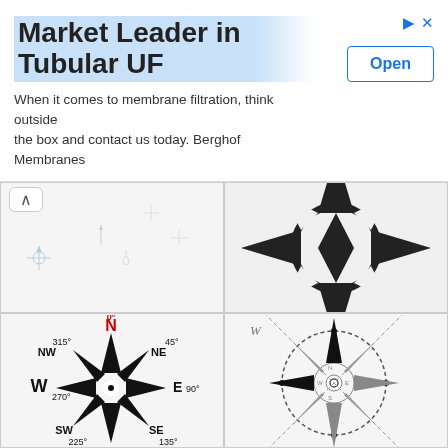[Figure (infographic): Advertisement banner: Market Leader in Tubular UF - Berghof Membranes, with Open button]
[Figure (illustration): Map or navigation diagram with small light-blue compass rose symbols]
[Figure (illustration): Large bold black 4-pointed compass rose with ring, ornate North Star style]
[Figure (illustration): 8-pointed compass rose with cardinal and intercardinal directions labeled: N 0deg, NE 45deg, E 90deg, SE 135deg, S 180deg, SW 225deg, W 270deg, NW 315deg. N is in red.]
[Figure (illustration): Detailed compass rose inside a dashed circle ring with N, W, S, E labels in italic style, multiple points, gray and black]